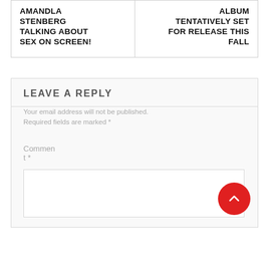AMANDLA STENBERG TALKING ABOUT SEX ON SCREEN!
ALBUM TENTATIVELY SET FOR RELEASE THIS FALL
LEAVE A REPLY
Your email address will not be published. Required fields are marked *
Comment *